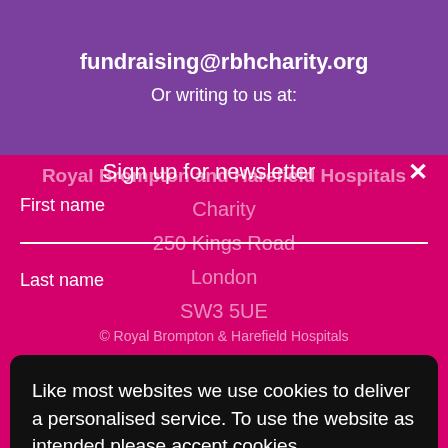fundraising@rbhcharity.org
Or writing to us at:
Royal Brompton and Harefield Hospitals Charity
250 Kings Road
London
SW3 5UE
Sign up for newsletter
First name
Last name
© Royal Brompton & Harefield Hospitals
Like most websites we use cookies to deliver a personalised service. To use the website as intended please accept cookies.
Accept Cookies